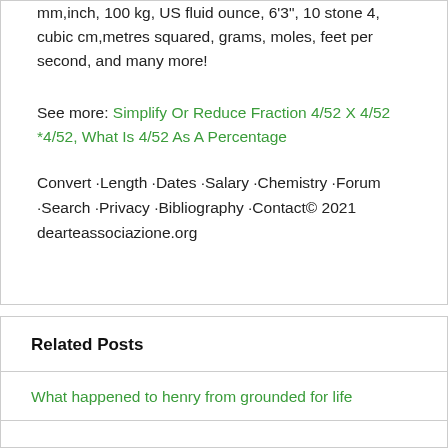mm,inch, 100 kg, US fluid ounce, 6'3", 10 stone 4, cubic cm,metres squared, grams, moles, feet per second, and many more!
See more: Simplify Or Reduce Fraction 4/52 X 4/52 *4/52, What Is 4/52 As A Percentage
Convert ·Length ·Dates ·Salary ·Chemistry ·Forum ·Search ·Privacy ·Bibliography ·Contact© 2021 dearteassociazione.org
Related Posts
What happened to henry from grounded for life